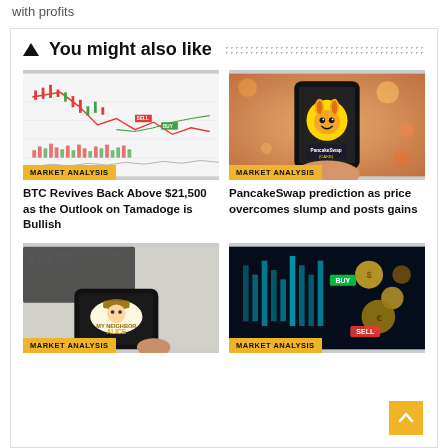with profits
▲ You might also like
[Figure (screenshot): BTC price chart showing candlesticks with red downtrend and green volume bars, labeled MARKET ANALYSIS]
BTC Revives Back Above $21,500 as the Outlook on Tamadoge is Bullish
[Figure (photo): Hand holding a smartphone showing PancakeSwap (CAKE) logo, labeled MARKET ANALYSIS]
PancakeSwap prediction as price overcomes slump and posts gains
[Figure (photo): Hands holding a smartphone showing My Neighbor Alice game logo on screen, labeled MARKET ANALYSIS]
[Figure (photo): Crypto trading chart with BUY and SELL labels and cryptocurrency coins, labeled MARKET ANALYSIS]